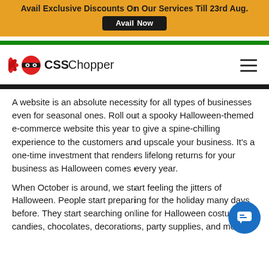Avail Exclusive Discounts On Our Services Till 23rd Aug. Avail Now
[Figure (logo): CSSChopper logo with red ninja mascot and text 'CSSChopper']
A website is an absolute necessity for all types of businesses even for seasonal ones. Roll out a spooky Halloween-themed e-commerce website this year to give a spine-chilling experience to the customers and upscale your business. It's a one-time investment that renders lifelong returns for your business as Halloween comes every year.
When October is around, we start feeling the jitters of Halloween. People start preparing for the holiday many days before. They start searching online for Halloween costumes, candies, chocolates, decorations, party supplies, and more.